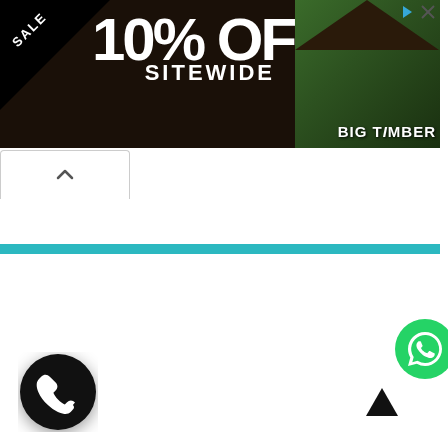[Figure (screenshot): Advertisement banner for Big Timber showing 10% OFF SITEWIDE SALE, SHOP NOW, ENDS 8/31, with a gazebo photo on dark background]
[Figure (screenshot): Browser tab navigation showing a chevron/up-arrow tab control]
[Figure (other): Teal horizontal divider bar]
[Figure (other): WhatsApp floating button (green circle with phone icon) in bottom right]
[Figure (other): Black circular phone call button in bottom left]
[Figure (other): Black upward arrow scroll-to-top button in bottom right area]